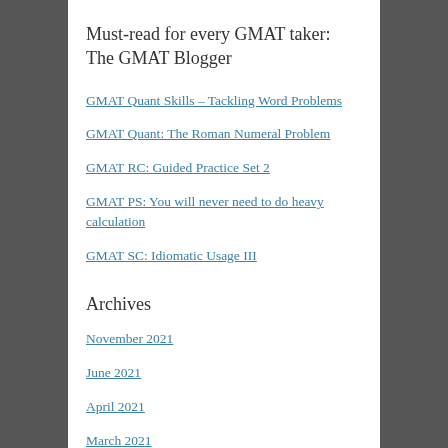Must-read for every GMAT taker: The GMAT Blogger
GMAT Quant Skills – Tackling Word Problems
GMAT Quant: The Roman Numeral Problem
GMAT RC: Guided Practice Set 2
GMAT PS: You will never need to do heavy calculation
GMAT SC: Idiomatic Usage III
Archives
November 2021
June 2021
April 2021
March 2021
May 2020
April 2020